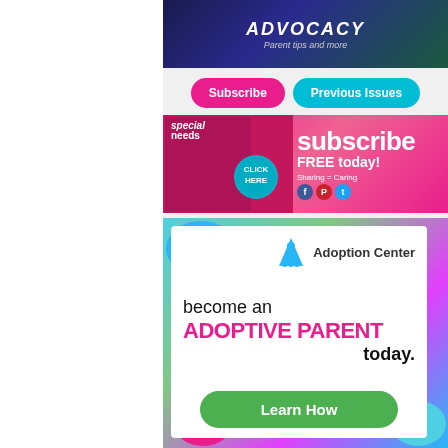[Figure (photo): Dark background image with text ADVOCACY and tagline 'Parent tips and more']
[Figure (infographic): Subscribe button (pink/magenta) and Previous Issues button (cyan/teal)]
[Figure (infographic): Special Needs magazine subscribe banner - pink background with baby photo, 'subscribe FREE today!' text, Click Here button, Sharing=Caring with social icons]
[Figure (infographic): Adoption Center ad - colorful border with white interior, Adoption Center logo, text 'become an ADOPTIVE PARENT today.', green Learn How button]